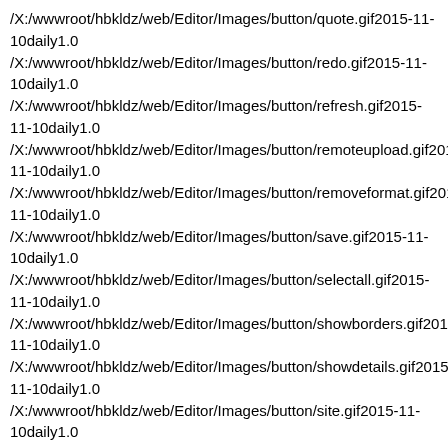/X:/wwwroot/hbkldz/web/Editor/Images/button/quote.gif2015-11-10daily1.0
/X:/wwwroot/hbkldz/web/Editor/Images/button/redo.gif2015-11-10daily1.0
/X:/wwwroot/hbkldz/web/Editor/Images/button/refresh.gif2015-11-10daily1.0
/X:/wwwroot/hbkldz/web/Editor/Images/button/remoteupload.gif2015-11-10daily1.0
/X:/wwwroot/hbkldz/web/Editor/Images/button/removeformat.gif2015-11-10daily1.0
/X:/wwwroot/hbkldz/web/Editor/Images/button/save.gif2015-11-10daily1.0
/X:/wwwroot/hbkldz/web/Editor/Images/button/selectall.gif2015-11-10daily1.0
/X:/wwwroot/hbkldz/web/Editor/Images/button/showborders.gif2015-11-10daily1.0
/X:/wwwroot/hbkldz/web/Editor/Images/button/showdetails.gif2015-11-10daily1.0
/X:/wwwroot/hbkldz/web/Editor/Images/button/site.gif2015-11-10daily1.0
/X:/wwwroot/hbkldz/web/Editor/Images/button/sizeminus.gif2015-11-10daily1.0
/X:/wwwroot/hbkldz/web/Editor/Images/button/sizeplus.gif2015-11-10daily1.0
/X:/wwwroot/hbkldz/web/Editor/Images/button/space.gif2015-11-